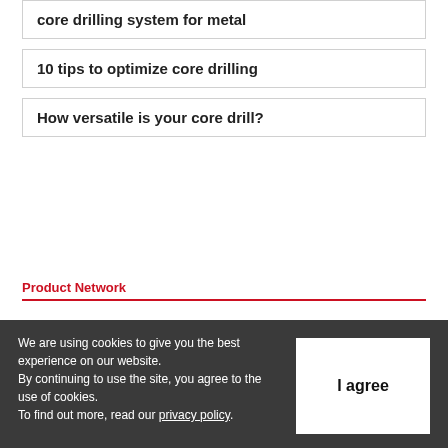core drilling system for metal
10 tips to optimize core drilling
How versatile is your core drill?
Product Network
We are using cookies to give you the best experience on our website.
By continuing to use the site, you agree to the use of cookies.
To find out more, read our privacy policy.